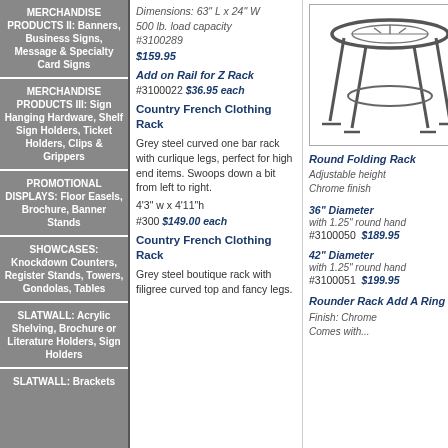MERCHANDISE PRODUCTS II: Banners, Business Signs, Message & Specialty Card Signs
MERCHANDISE PRODUCTS III: Sign Hanging Hardware, Shelf Sign Holders, Ticket Holders, Clips & Grippers
PROMOTIONAL DISPLAYS: Floor Easels, Brochure, Banner Stands
SHOWCASES: Knockdown Counters, Register Stands, Towers, Gondolas, Tables
SLATWALL: Acrylic Shelving, Brochure or Literature Holders, Sign Holders
SLATWALL: Brackets
Dimensions: 63" L x 24" W 500 lb. load capacity #3100289 $159.95
Add on Rail for Z Rack #3100022 $36.95 each
Country French Clothing Rack
Grey steel curved one bar rack with curlique legs, perfect for high end items. Swoops down a bit from left to right.
4'3" w x 4'11"h
#300 $149.00 each
Country French Clothing Rack
Grey steel boutique rack with filigree curved top and fancy legs.
[Figure (illustration): Line drawing of a round folding rack with circular top rail and four splayed legs, chrome finish]
Round Folding Rack Adjustable height Chrome finish
36" Diameter with 1.25" round hand #3100050 $189.95
42" Diameter with 1.25" round hand #3100051 $199.95
Rounder Rack Add A Ring Kit Finish: Chrome Comes with...